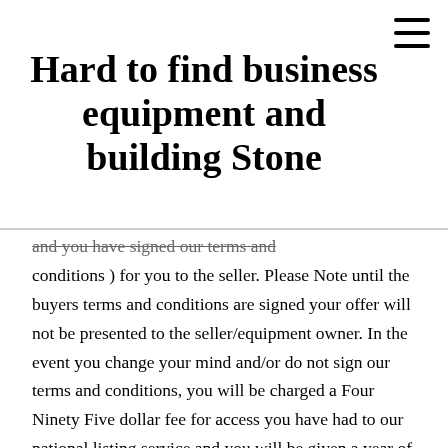Hard to find business equipment and building Stone
and you have signed our terms and conditions ) for you to the seller. Please Note until the buyers terms and conditions are signed your offer will not be presented to the seller/equipment owner. In the event you change your mind and/or do not sign our terms and conditions, you will be charged a Four Ninety Five dollar fee for access you have had to our national listing service and you will be given a year of access from your deposits original submission date, the national listing service fee may be deducted from your deposit or paid separately ( at our discretion). (Your can request references via a link at the bottom ).No national listing service fee will be charged to you as long as you keep your full deposit on file or buy any piece of equipment that you list as wanting to buy on our terms and conditions agreement with us. ( Even if it's